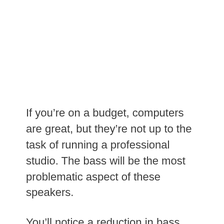If you’re on a budget, computers are great, but they’re not up to the task of running a professional studio. The bass will be the most problematic aspect of these speakers.
You’ll notice a reduction in bass, and in